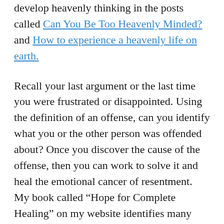develop heavenly thinking in the posts called Can You Be Too Heavenly Minded? and How to experience a heavenly life on earth.
Recall your last argument or the last time you were frustrated or disappointed. Using the definition of an offense, can you identify what you or the other person was offended about? Once you discover the cause of the offense, then you can work to solve it and heal the emotional cancer of resentment. My book called “Hope for Complete Healing” on my website identifies many causes for offense and the solution. I encourage you to read it so you can love well and have peace, joy, and right thinking. Also, read, “#1 Destroyer of All Relationships and the Solution” for the